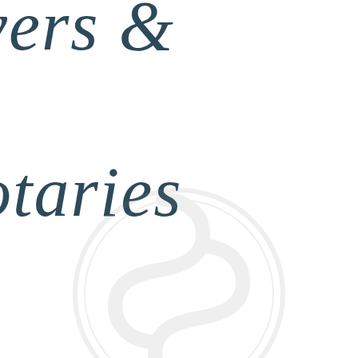yers &
otaries
[Figure (logo): Faint watermark logo in the lower center of the page — a circular emblem with a stylized 'S' or snake-like serpent symbol, light gray]